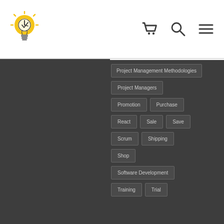[Figure (logo): Light bulb with clock icon in yellow/orange, website logo]
[Figure (infographic): Navigation icons: shopping cart, search magnifier, hamburger menu]
Project Management Methodologies
Project Managers
Promotion
Purchase
React
Sale
Save
Scrum
Shipping
Shop
Software Development
Training
Trial